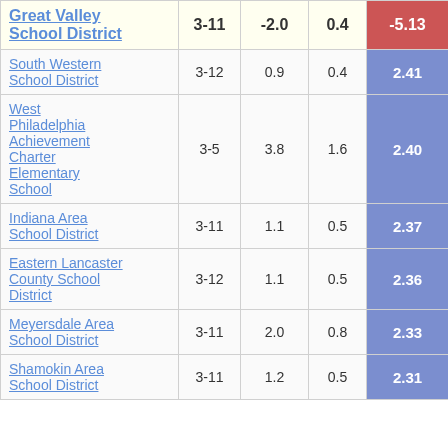|  |  |  |  |  |
| --- | --- | --- | --- | --- |
| Great Valley School District | 3-11 | -2.0 | 0.4 | -5.13 |
| South Western School District | 3-12 | 0.9 | 0.4 | 2.41 |
| West Philadelphia Achievement Charter Elementary School | 3-5 | 3.8 | 1.6 | 2.40 |
| Indiana Area School District | 3-11 | 1.1 | 0.5 | 2.37 |
| Eastern Lancaster County School District | 3-12 | 1.1 | 0.5 | 2.36 |
| Meyersdale Area School District | 3-11 | 2.0 | 0.8 | 2.33 |
| Shamokin Area School District | 3-11 | 1.2 | 0.5 | 2.31 |